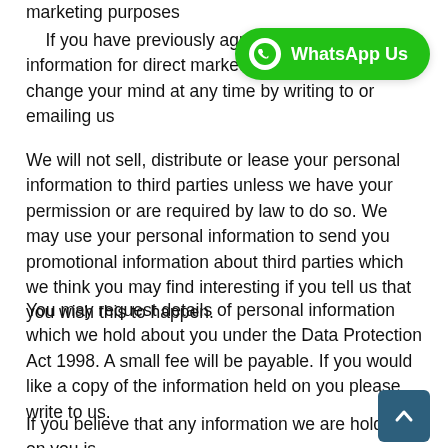marketing purposes
If you have previously agreed to us using your information for direct marketing purposes, you may change your mind at any time by writing to or emailing us
We will not sell, distribute or lease your personal information to third parties unless we have your permission or are required by law to do so. We may use your personal information to send you promotional information about third parties which we think you may find interesting if you tell us that you wish this to happen.
You may request details of personal information which we hold about you under the Data Protection Act 1998. A small fee will be payable. If you would like a copy of the information held on you please write to us.
If you believe that any information we are holding on you is